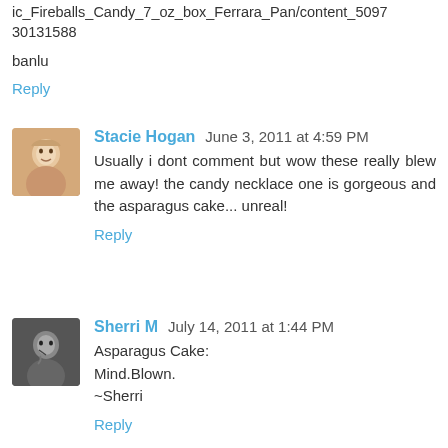ic_Fireballs_Candy_7_oz_box_Ferrara_Pan/content_5097
30131588
banlu
Reply
Stacie Hogan  June 3, 2011 at 4:59 PM
Usually i dont comment but wow these really blew me away! the candy necklace one is gorgeous and the asparagus cake... unreal!
Reply
Sherri M  July 14, 2011 at 1:44 PM
Asparagus Cake:
Mind.Blown.
~Sherri
Reply